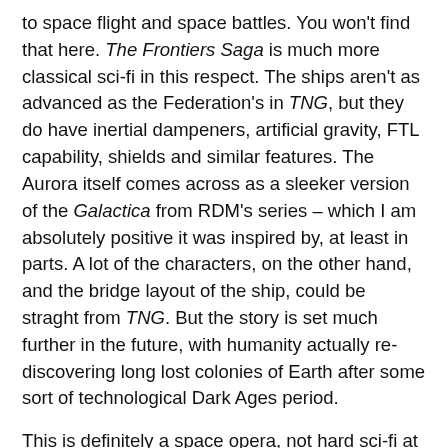to space flight and space battles. You won't find that here. The Frontiers Saga is much more classical sci-fi in this respect. The ships aren't as advanced as the Federation's in TNG, but they do have inertial dampeners, artificial gravity, FTL capability, shields and similar features. The Aurora itself comes across as a sleeker version of the Galactica from RDM's series – which I am absolutely positive it was inspired by, at least in parts. A lot of the characters, on the other hand, and the bridge layout of the ship, could be straght from TNG. But the story is set much further in the future, with humanity actually re-discovering long lost colonies of Earth after some sort of technological Dark Ages period.
This is definitely a space opera, not hard sci-fi at all. Maybe it's just the frame of mind I am in at the moment – I usually love hard sci-fi to bits – but this change of pace appeals to me a lot right now. The flawed, very human characters coupled with the ability to actually have battles that have the freedom to do some really crazy stuff, because they don't have to be beholden to every single